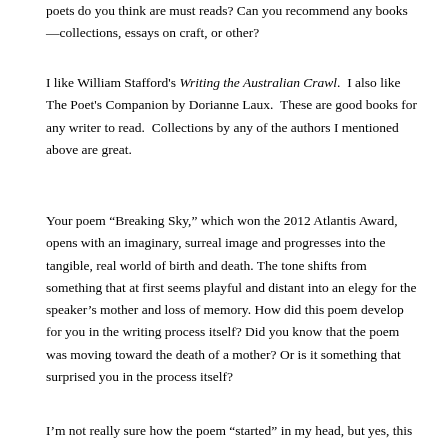poets do you think are must reads?  Can you recommend any books—collections, essays on craft, or other?
I like William Stafford's Writing the Australian Crawl.  I also like The Poet's Companion by Dorianne Laux.  These are good books for any writer to read.  Collections by any of the authors I mentioned above are great.
Your poem “Breaking Sky,” which won the 2012 Atlantis Award, opens with an imaginary, surreal image and progresses into the tangible, real world of birth and death. The tone shifts from something that at first seems playful and distant into an elegy for the speaker’s mother and loss of memory. How did this poem develop for you in the writing process itself? Did you know that the poem was moving toward the death of a mother? Or is it something that surprised you in the process itself?
I’m not really sure how the poem “started” in my head, but yes, this